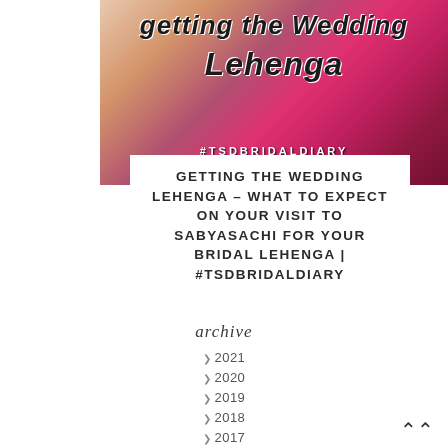[Figure (photo): Blog post thumbnail image with stylized script text 'Getting the Wedding Lehenga' overlaid on floral/bridal background with hashtag #TSDBRIDALDIARY]
GETTING THE WEDDING LEHENGA - WHAT TO EXPECT ON YOUR VISIT TO SABYASACHI FOR YOUR BRIDAL LEHENGA | #TSDBRIDALDIARY
archive
2021
2020
2019
2018
2017
2016